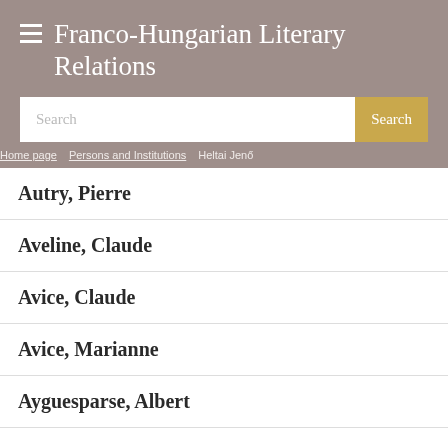Franco-Hungarian Literary Relations
Search
Home page > Persons and Institutions > Heltai Jenő
Autry, Pierre
Aveline, Claude
Avice, Claude
Avice, Marianne
Ayguesparse, Albert